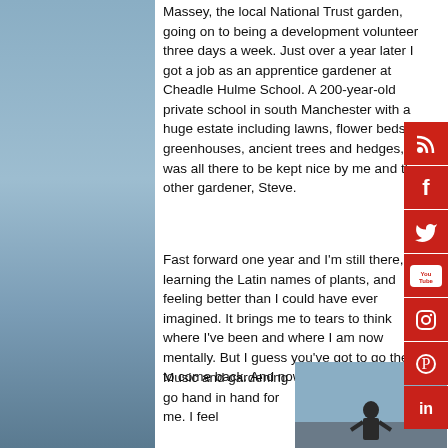Massey, the local National Trust garden, going on to being a development volunteer three days a week. Just over a year later I got a job as an apprentice gardener at Cheadle Hulme School. A 200-year-old private school in south Manchester with a huge estate including lawns, flower beds, greenhouses, ancient trees and hedges, it was all there to be kept nice by me and the other gardener, Steve.
Fast forward one year and I'm still there, learning the Latin names of plants, and feeling better than I could have ever imagined. It brings me to tears to think where I've been and where I am now mentally. But I guess you've got to go there to come back. And now I'm back.
Music and gardening go hand in hand for me. I feel
[Figure (photo): Person standing outdoors against a sky background]
[Figure (infographic): Social media sidebar icons: RSS, Facebook, Twitter, YouTube, Instagram, Pinterest, LinkedIn]